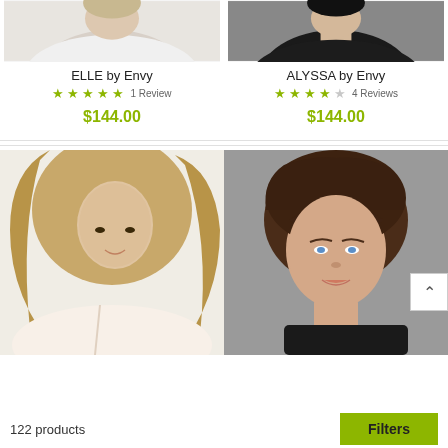[Figure (photo): Partial photo of woman modeling ELLE wig, cropped to show shoulder/neck area]
[Figure (photo): Partial photo of woman modeling ALYSSA wig, cropped to show shoulder/neck area, dark top]
ELLE by Envy
ALYSSA by Envy
★★★★★ 1 Review
★★★★☆ 4 Reviews
$144.00
$144.00
[Figure (photo): Woman with long wavy blonde/brown hair modeling a wig, white background]
[Figure (photo): Woman with short dark brown textured wig, grey background]
122 products
Filters